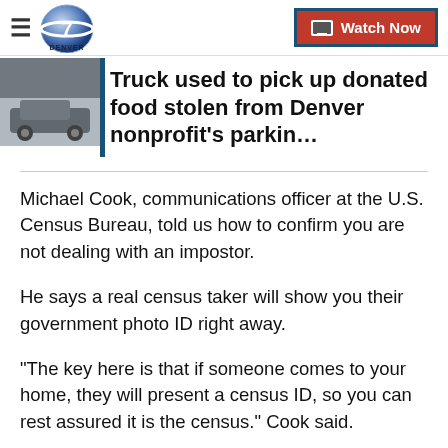DENVER7 | Watch Now
[Figure (screenshot): Thumbnail image of a vehicle, partially visible, with grey tones]
Truck used to pick up donated food stolen from Denver nonprofit's parkin…
Michael Cook, communications officer at the U.S. Census Bureau, told us how to confirm you are not dealing with an impostor.
He says a real census taker will show you their government photo ID right away.
"The key here is that if someone comes to your home, they will present a census ID, so you can rest assured it is the census." Cook said.